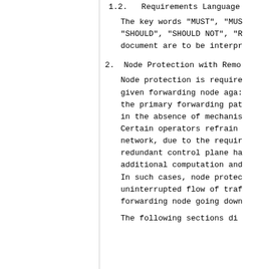1.2.  Requirements Language
The key words "MUST", "MUS"
"SHOULD", "SHOULD NOT", "R"
document are to be interpr
2.  Node Protection with Remo
Node protection is require
given forwarding node aga:
the primary forwarding pat
in the absence of mechanis
Certain operators refrain
network, due to the requir
redundant control plane ha
additional computation and
In such cases, node protec
uninterrupted flow of traf
forwarding node going down
The following sections di